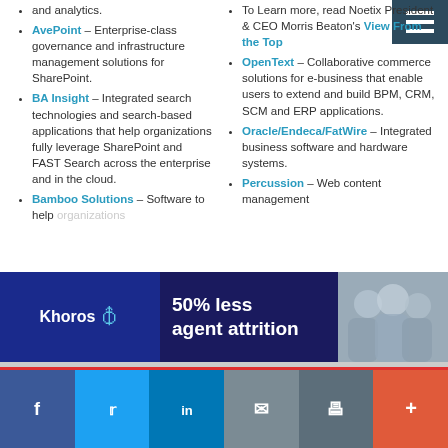and analytics.
AvePoint – Enterprise-class governance and infrastructure management solutions for SharePoint.
BA Insight – Integrated search technologies and search-based applications that help organizations fully leverage SharePoint and FAST Search across the enterprise and in the cloud.
Bamboo Solutions – Software to help organizations
To Learn more, read Noetix President & CEO Morris Beaton's View From the Top
OpenText – Collaborative commerce solutions for e-business that enable users to extend and build BPM, CRM, SCM and ERP applications.
Oracle/Endeca/FatWire – Integrated business software and hardware systems.
Percussion – Web content management
[Figure (infographic): Khoros advertisement banner: dark blue background with Khoros logo on left, '50% less agent attrition' text in center, blurred team photo on right]
[Figure (infographic): Social sharing bar at bottom: Facebook (blue), Twitter (blue), LinkedIn (blue), Email (gray), Print (dark gray), More (orange-red)]